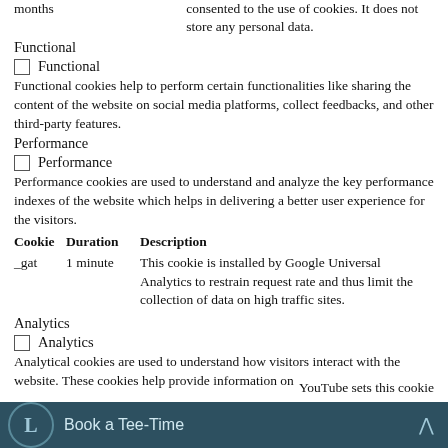months consented to the use of cookies. It does not store any personal data.
Functional
Functional
Functional cookies help to perform certain functionalities like sharing the content of the website on social media platforms, collect feedbacks, and other third-party features.
Performance
Performance
Performance cookies are used to understand and analyze the key performance indexes of the website which helps in delivering a better user experience for the visitors.
| Cookie | Duration | Description |
| --- | --- | --- |
| _gat | 1 minute | This cookie is installed by Google Universal Analytics to restrain request rate and thus limit the collection of data on high traffic sites. |
Analytics
Analytics
Analytical cookies are used to understand how visitors interact with the website. These cookies help provide information on
YouTube sets this cookie